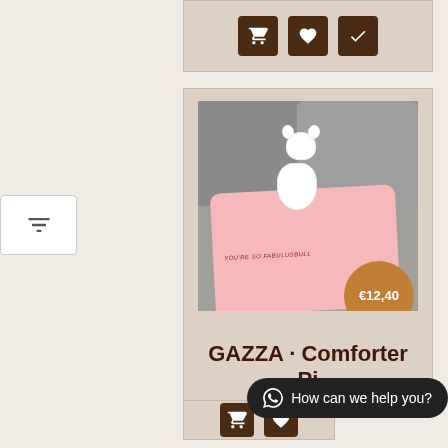[Figure (screenshot): Top portion of e-commerce product listing card with cart, heart, and checkmark icon buttons on beige background]
[Figure (screenshot): Filter funnel icon button on white background on the left side]
[Figure (photo): Product photo showing a white bull terrier plush toy figurine sitting on a pink blanket/comforter with text 'YOU'RE SO FABULUSBULL' on a gray couch background. An amber/gold price circle badge shows €12,40]
GAZZA · Comforter Pi
How can we help you?